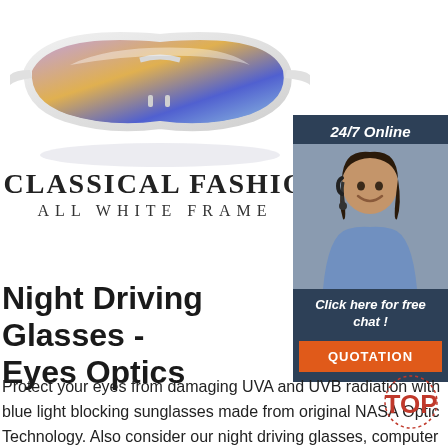[Figure (photo): Product photo of sport/cycling sunglasses with white frame and colorful mirrored lens, shown at angle with reflection]
CLASSICAL FASHION
ALL WHITE FRAME
[Figure (photo): Customer service chat widget with dark blue background, woman wearing headset (customer support agent), text: 24/7 Online, Click here for free chat!, QUOTATION button in orange]
Night Driving Glasses - Eyes Optics
Protect your eyes from damaging UVA and UVB radiation with blue light blocking sunglasses made from original NASA Optic Technology. Also consider our night driving glasses, computer glasses, and fit over